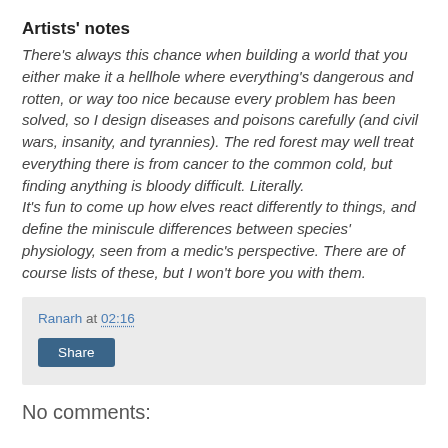Artists' notes
There's always this chance when building a world that you either make it a hellhole where everything's dangerous and rotten, or way too nice because every problem has been solved, so I design diseases and poisons carefully (and civil wars, insanity, and tyrannies). The red forest may well treat everything there is from cancer to the common cold, but finding anything is bloody difficult. Literally.
It's fun to come up how elves react differently to things, and define the miniscule differences between species' physiology, seen from a medic's perspective. There are of course lists of these, but I won't bore you with them.
Ranarh at 02:16
Share
No comments: